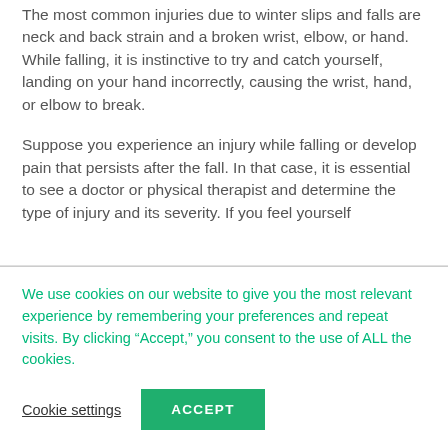The most common injuries due to winter slips and falls are neck and back strain and a broken wrist, elbow, or hand. While falling, it is instinctive to try and catch yourself, landing on your hand incorrectly, causing the wrist, hand, or elbow to break.
Suppose you experience an injury while falling or develop pain that persists after the fall. In that case, it is essential to see a doctor or physical therapist and determine the type of injury and its severity. If you feel yourself
We use cookies on our website to give you the most relevant experience by remembering your preferences and repeat visits. By clicking “Accept,” you consent to the use of ALL the cookies.
Cookie settings
ACCEPT